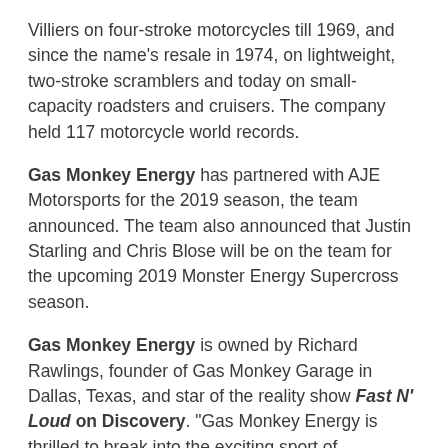Villiers on four-stroke motorcycles till 1969, and since the name's resale in 1974, on lightweight, two-stroke scramblers and today on small-capacity roadsters and cruisers. The company held 117 motorcycle world records.
Gas Monkey Energy has partnered with AJE Motorsports for the 2019 season, the team announced. The team also announced that Justin Starling and Chris Blose will be on the team for the upcoming 2019 Monster Energy Supercross season.
Gas Monkey Energy is owned by Richard Rawlings, founder of Gas Monkey Garage in Dallas, Texas, and star of the reality show Fast N' Loud on Discovery. "Gas Monkey Energy is thrilled to break into the exciting sport of supercross. The fast paced, high energy nature of this sport makes it the perfect fit for